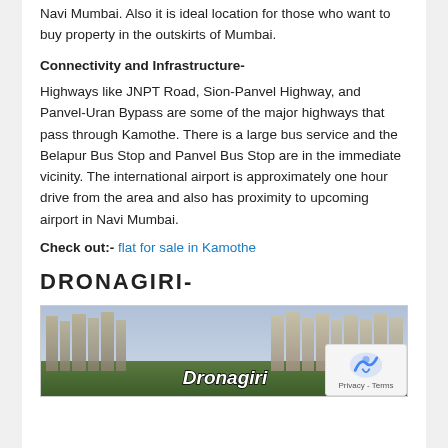Navi Mumbai. Also it is ideal location for those who want to buy property in the outskirts of Mumbai.
Connectivity and Infrastructure-
Highways like JNPT Road, Sion-Panvel Highway, and Panvel-Uran Bypass are some of the major highways that pass through Kamothe. There is a large bus service and the Belapur Bus Stop and Panvel Bus Stop are in the immediate vicinity. The international airport is approximately one hour drive from the area and also has proximity to upcoming airport in Navi Mumbai.
Check out:- flat for sale in Kamothe
DRONAGIRI-
[Figure (photo): Aerial or landscape view of Dronagiri area with apartment buildings and greenery, labeled 'Dronagiri' in italic white text overlay.]